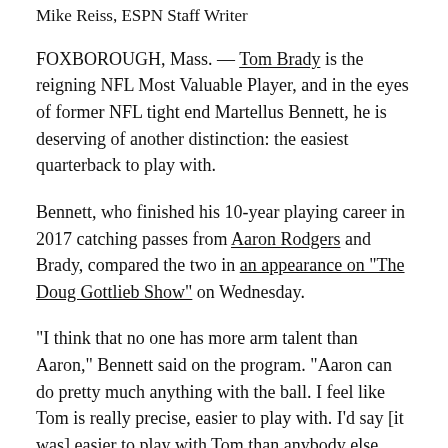Mike Reiss, ESPN Staff Writer
FOXBOROUGH, Mass. — Tom Brady is the reigning NFL Most Valuable Player, and in the eyes of former NFL tight end Martellus Bennett, he is deserving of another distinction: the easiest quarterback to play with.
Bennett, who finished his 10-year playing career in 2017 catching passes from Aaron Rodgers and Brady, compared the two in an appearance on “The Doug Gottlieb Show” on Wednesday.
“I think that no one has more arm talent than Aaron,” Bennett said on the program. “Aaron can do pretty much anything with the ball. I feel like Tom is really precise, easier to play with. I’d say [it was] easier to play with Tom than anybody else.